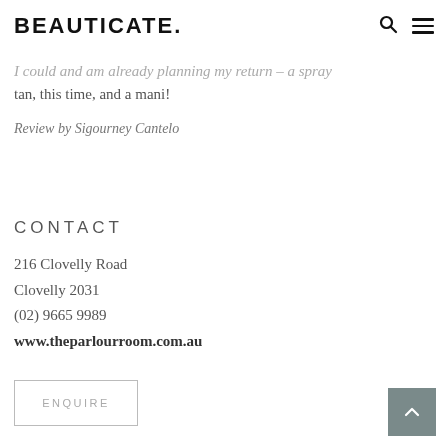BEAUTICATE.
...and am already planning my return – a spray tan, this time, and a mani!
Review by Sigourney Cantelo
CONTACT
216 Clovelly Road
Clovelly 2031
(02) 9665 9989
www.theparlourroom.com.au
ENQUIRE